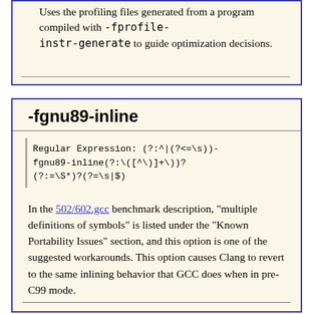Uses the profiling files generated from a program compiled with -fprofile-instr-generate to guide optimization decisions.
-fgnu89-inline
Regular Expression: (?:^|(?<=\s))-fgnu89-inline(?:\([^\)]+\))?(?:=\S*)?(?=\s|$)
In the 502/602.gcc benchmark description, "multiple definitions of symbols" is listed under the "Known Portability Issues" section, and this option is one of the suggested workarounds. This option causes Clang to revert to the same inlining behavior that GCC does when in pre-C99 mode.